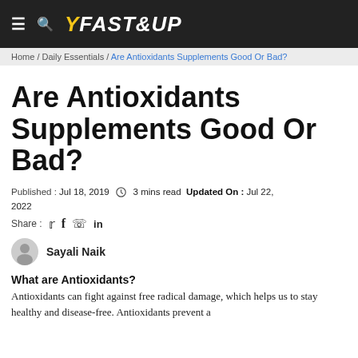FAST&UP
Home / Daily Essentials / Are Antioxidants Supplements Good Or Bad?
Are Antioxidants Supplements Good Or Bad?
Published: Jul 18, 2019 3 mins read Updated On: Jul 22, 2022
Share: Twitter Facebook WhatsApp LinkedIn
Sayali Naik
What are Antioxidants?
Antioxidants can fight against free radical damage, which helps us to stay healthy and disease-free. Antioxidants prevent a